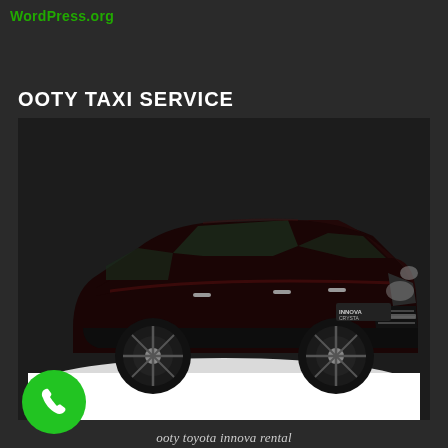WordPress.org
OOTY TAXI SERVICE
[Figure (photo): Toyota Innova Crysta SUV in dark maroon/black color photographed against a white background, showing the front three-quarter view. Badge reads INNOVA CRYSTA on the rear.]
ooty toyota innova rental
[Figure (other): Green circular phone/call button icon with a white telephone handset symbol]